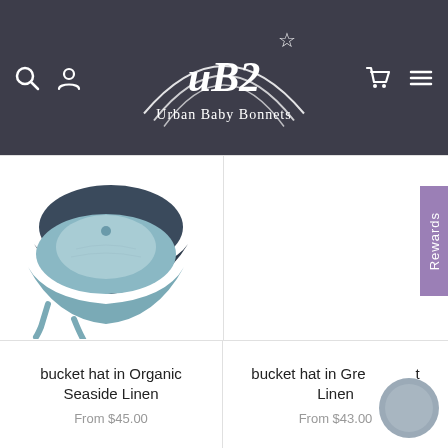[Figure (logo): Urban Baby Bonnets (UB2) logo on dark header with search, user, cart and menu icons]
[Figure (photo): Bucket hat in Organic Seaside Linen - two denim-style hats, one dark navy and one light blue, with chin straps]
[Figure (photo): Right product image cell - empty/white background]
bucket hat in Organic Seaside Linen
From $45.00
bucket hat in Gre... t Linen
From $43.00